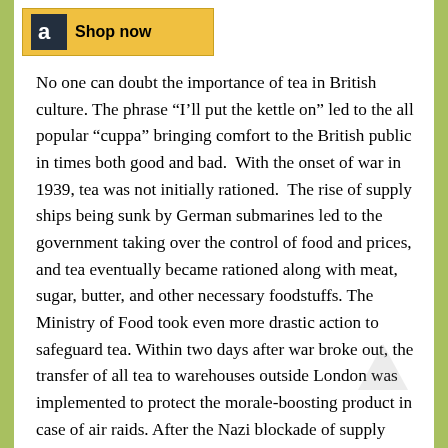[Figure (logo): Amazon 'Shop now' banner with black Amazon logo on gold/yellow background]
No one can doubt the importance of tea in British culture. The phrase “I’ll put the kettle on” led to the all popular “cuppa” bringing comfort to the British public in times both good and bad.  With the onset of war in 1939, tea was not initially rationed.  The rise of supply ships being sunk by German submarines led to the government taking over the control of food and prices, and tea eventually became rationed along with meat, sugar, butter, and other necessary foodstuffs. The Ministry of Food took even more drastic action to safeguard tea. Within two days after war broke out, the transfer of all tea to warehouses outside London was implemented to protect the morale-boosting product in case of air raids. After the Nazi blockade of supply ships, tea was rationed to 2 ounces per person, per week, for those five years of age and older. This ration made for rather weak tea, and only two to three cups per day, but soldiers and war workers were issued extra rations of tea. A patriotic poem